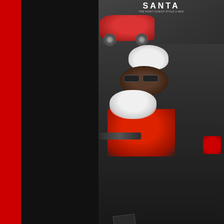[Figure (photo): Album art for a Gucci Mane Christmas mixtape titled 'Santa: The Night Guwop Stole X-Mas'. Shows a figure dressed as Santa Claus with sunglasses and a white beard, wearing a red outfit, lying on the ground near a red car. Parental Advisory Explicit Content sticker visible at bottom left of the cover.]
Click Here or Above To Listen >>>
No comments:
B.o.B- WATER (Presented b